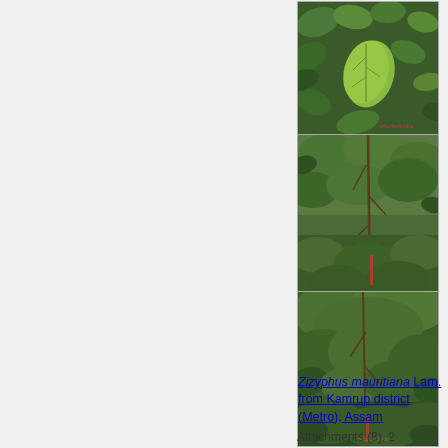[Figure (photo): Three stacked photographs of Zizyphus mauritiana Lam. plant: top photo shows a close-up of a fruit/leaf, middle photo shows the full plant/tree in a vegetation setting, bottom photo shows dense vegetation with the plant.]
Zizyphus mauritiana Lam. from Kamrup district (Metro), Assam
Attachments (8), 2